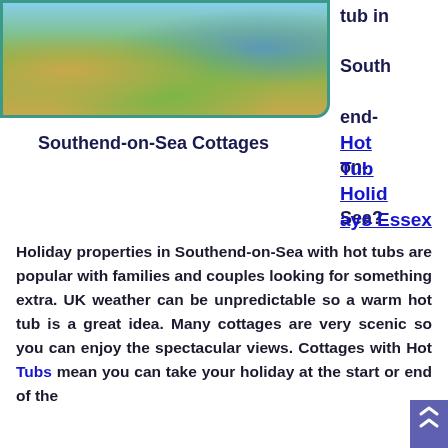[Figure (photo): Aerial or elevated view of Southend-on-Sea cityscape with golden stone buildings, greenery and sky]
tub in South end- on- Sea?
Hot Tub Holidays Essex
Southend-on-Sea Cottages
Holiday properties in Southend-on-Sea with hot tubs are popular with families and couples looking for something extra. UK weather can be unpredictable so a warm hot tub is a great idea. Many cottages are very scenic so you can enjoy the spectacular views. Cottages with Hot Tubs mean you can take your holiday at the start or end of the